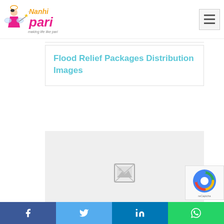Nanhi Pari - making life like pari
Flood Relief Packages Distribution Images
[Figure (photo): Broken/missing image placeholder in a light gray box]
[Figure (other): reCAPTCHA verification widget in bottom right corner]
Social share bar with Facebook, Twitter, LinkedIn, WhatsApp buttons